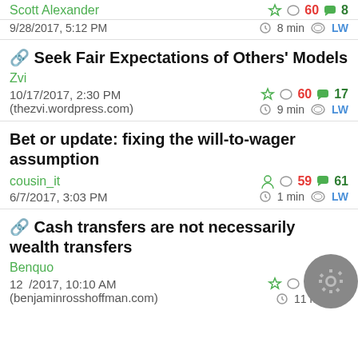Scott Alexander | 60 | 8 | 9/28/2017, 5:12 PM | 8 min | LW
🔗 Seek Fair Expectations of Others' Models
Zvi
10/17/2017, 2:30 PM (thezvi.wordpress.com) | 60 | 17 | 9 min | LW
Bet or update: fixing the will-to-wager assumption
cousin_it
6/7/2017, 3:03 PM | 59 | 61 | 1 min | LW
🔗 Cash transfers are not necessarily wealth transfers
Benquo
12/x/2017, 10:10 AM (benjaminrosshoffman.com) | 59 | 11 min | LW